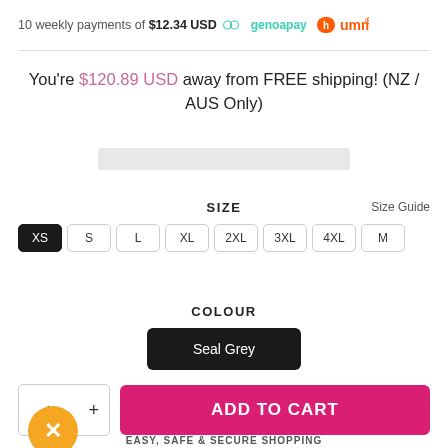10 weekly payments of $12.34 USD  genoapay  humm
You're $120.89 USD away from FREE shipping! (NZ / AUS Only)
SIZE    Size Guide
XS  S  L  XL  2XL  3XL  4XL  M
COLOUR
Seal Grey
ADD TO CART
EASY, SAFE & SECURE SHOPPING